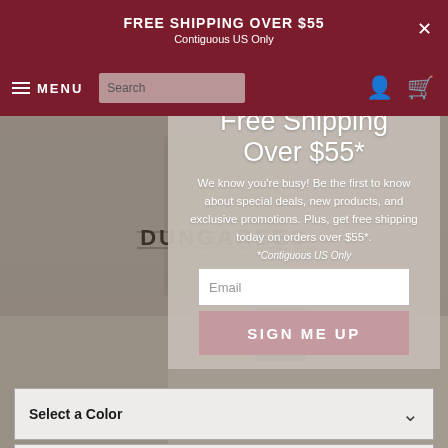FREE SHIPPING OVER $55
Contiguous US Only
[Figure (screenshot): E-commerce website screenshot showing Dungarees brand page with free shipping popup overlay. Top dark red banner reads 'FREE SHIPPING OVER $55 / Contiguous US Only'. Navigation bar with MENU hamburger icon, search box, user and cart icons. Dungarees logo centered. Background shows a person wearing a hoodie with color swatch thumbnails. Popup modal with white text: 'Free Shipping Over $55*' headline, body text about deals and promotions, email input field, SIGN ME UP button, and No Thanks link. Product selectors for color and size with chevron dropdowns, quantity +/- controls.]
Free Shipping Over $55*
We know you're busy! Be the first to know about special deals, new products, and exclusive promotions. Plus, get free shipping today on orders over $55*.
*Contiguous US Only
Select a Color
Select a Size
No Thanks